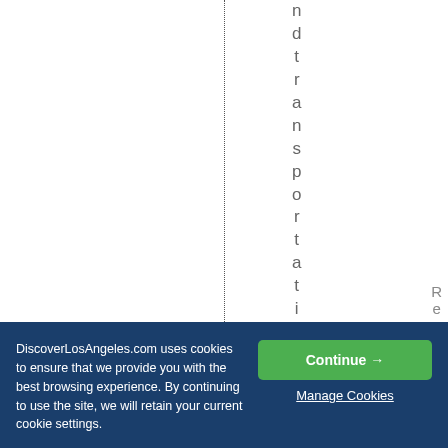[Figure (other): Vertical rotated text spelling 'ndtransportation' displayed letter by letter top to bottom, with a vertical dotted line to the left]
DiscoverLosAngeles.com uses cookies to ensure that we provide you with the best browsing experience. By continuing to use the site, we will retain your current cookie settings.
Continue →
Manage Cookies